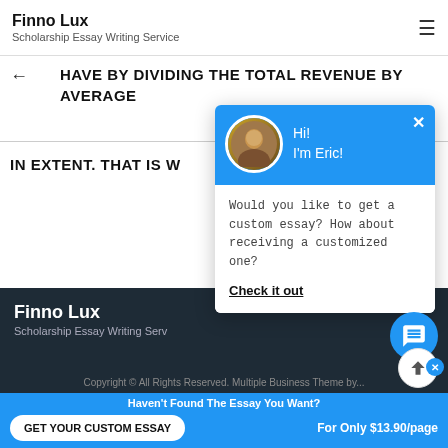Finno Lux
Scholarship Essay Writing Service
HAVE BY DIVIDING THE TOTAL REVENUE BY AVERAGE
IN EXTENT. THAT IS W
[Figure (screenshot): Chat popup with avatar of Eric, blue header saying 'Hi! I'm Eric!', body text 'Would you like to get a custom essay? How about receiving a customized one?' and a 'Check it out' link]
Finno Lux
Scholarship Essay Writing Serv
Copyright © All Rights Reserved. Multiple Business Theme by...
Haven't Found The Essay You Want?
GET YOUR CUSTOM ESSAY
For Only $13.90/page